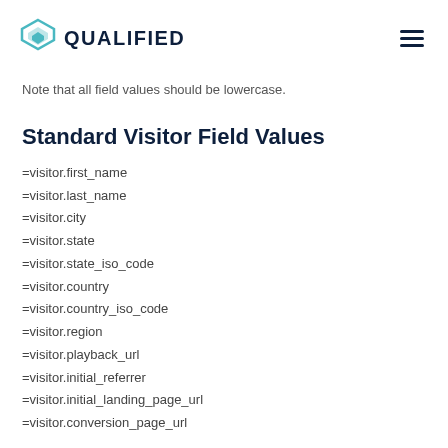QUALIFIED
Note that all field values should be lowercase.
Standard Visitor Field Values
=visitor.first_name
=visitor.last_name
=visitor.city
=visitor.state
=visitor.state_iso_code
=visitor.country
=visitor.country_iso_code
=visitor.region
=visitor.playback_url
=visitor.initial_referrer
=visitor.initial_landing_page_url
=visitor.conversion_page_url